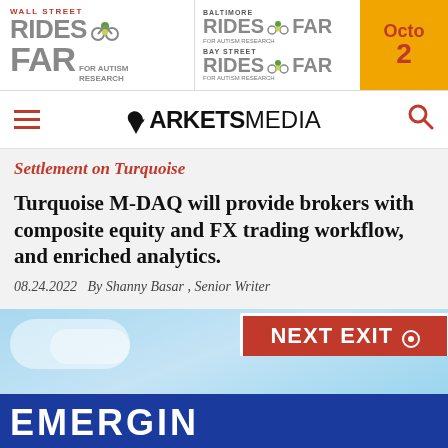[Figure (illustration): Wall Street Rides FAR for Autism Research banner advertisement alongside Baltimore Rides FAR and Bay Street Rides FAR, with an orange date panel showing October]
MARKETS MEDIA
Settlement on Turquoise
Turquoise M-DAQ will provide brokers with composite equity and FX trading workflow, and enriched analytics.
08.24.2022   By Shanny Basar , Senior Writer
[Figure (photo): Highway exit sign reading NEXT EXIT with EMERGING text below on a blue background with sky and clouds]